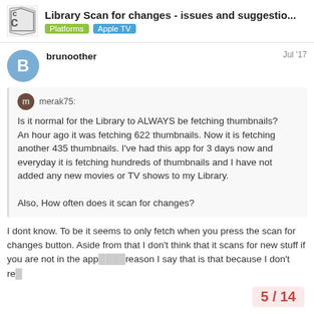Library Scan for changes - issues and suggestio... | Platforms | Apple TV
brunoother — Jul '17
merak75:
Is it normal for the Library to ALWAYS be fetching thumbnails?
An hour ago it was fetching 622 thumbnails. Now it is fetching another 435 thumbnails. I've had this app for 3 days now and everyday it is fetching hundreds of thumbnails and I have not added any new movies or TV shows to my Library.

Also, How often does it scan for changes?
I dont know. To be it seems to only fetch when you press the scan for changes button. Aside from that I don't think that it scans for new stuff if you are not in the app reason I say that is that because I don't re
5 / 14